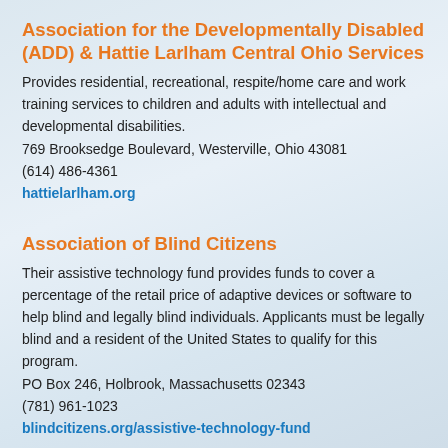Association for the Developmentally Disabled (ADD) & Hattie Larlham Central Ohio Services
Provides residential, recreational, respite/home care and work training services to children and adults with intellectual and developmental disabilities.
769 Brooksedge Boulevard, Westerville, Ohio 43081
(614) 486-4361
hattielarlham.org
Association of Blind Citizens
Their assistive technology fund provides funds to cover a percentage of the retail price of adaptive devices or software to help blind and legally blind individuals. Applicants must be legally blind and a resident of the United States to qualify for this program.
PO Box 246, Holbrook, Massachusetts 02343
(781) 961-1023
blindcitizens.org/assistive-technology-fund